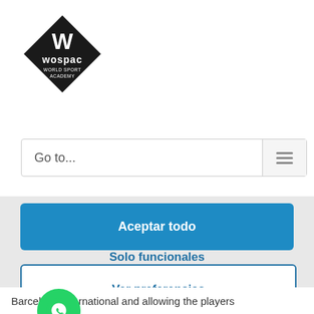[Figure (logo): WOSPAC World Sport Academy black diamond logo with white W and text]
Go to...
Aceptar todo
Solo funcionales
Ver preferencias
Barcelona international and allowing the players